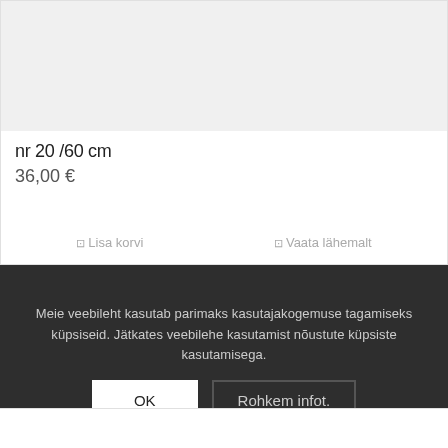[Figure (photo): Product image area - light gray background, partial view of a product]
nr 20 /60 cm
36,00 €
⊡ Lisa korvi
⊡ Vaata lähemalt
Meie veebileht kasutab parimaks kasutajakogemuse tagamiseks küpsiseid. Jätkates veebilehe kasutamist nõustute küpsiste kasutamisega.
OK
Rohkem infot.
[Figure (photo): Partial view of dark wooden sticks or handles at the bottom of the page]